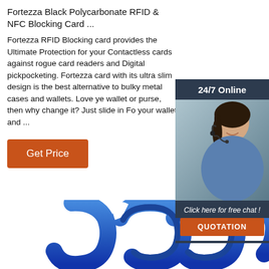Fortezza Black Polycarbonate RFID & NFC Blocking Card ...
Fortezza RFID Blocking card provides the Ultimate Protection for your Contactless cards against rogue card readers and Digital pickpocketing. Fortezza card with its ultra slim design is the best alternative to bulky metal cases and wallets. Love ye wallet or purse, then why change it? Just slide in Fo your wallet and ...
[Figure (other): Get Price orange button]
[Figure (infographic): 24/7 Online support widget with woman wearing headset, Click here for free chat!, QUOTATION button]
[Figure (logo): TOP badge with dots arranged in triangle above the word TOP in orange]
[Figure (photo): Blue chain links visible at the bottom of the page]